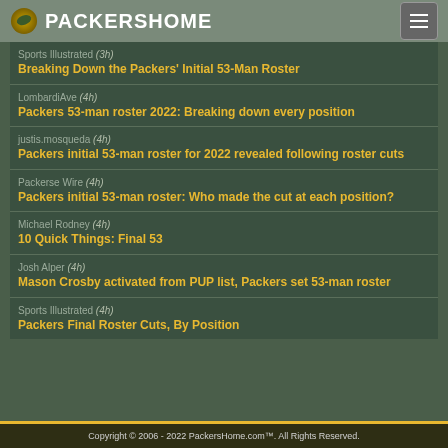PACKERSHOME
Sports Illustrated (3h) — Breaking Down the Packers' Initial 53-Man Roster
LombardiAve (4h) — Packers 53-man roster 2022: Breaking down every position
justis.mosqueda (4h) — Packers initial 53-man roster for 2022 revealed following roster cuts
Packerse Wire (4h) — Packers initial 53-man roster: Who made the cut at each position?
Michael Rodney (4h) — 10 Quick Things: Final 53
Josh Alper (4h) — Mason Crosby activated from PUP list, Packers set 53-man roster
Sports Illustrated (4h) — Packers Final Roster Cuts, By Position
Copyright © 2006 - 2022 PackersHome.com™. All Rights Reserved.